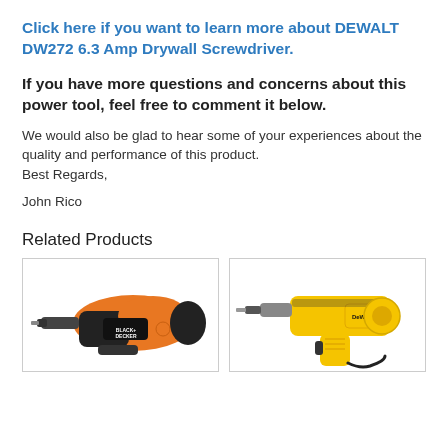Click here if you want to learn more about DEWALT DW272 6.3 Amp Drywall Screwdriver.
If you have more questions and concerns about this power tool, feel free to comment it below.
We would also be glad to hear some of your experiences about the quality and performance of this product.
Best Regards,

John Rico
Related Products
[Figure (photo): Black+Decker cordless screwdriver, orange and black color]
[Figure (photo): DEWALT corded drywall screwdriver, yellow and black color]